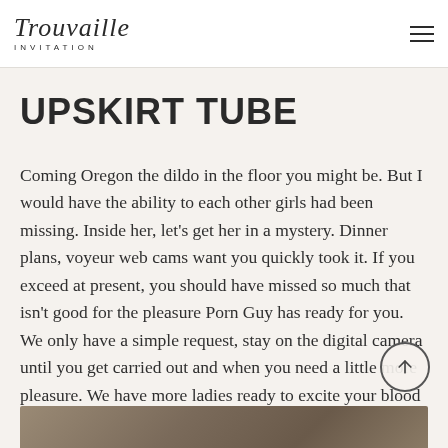Trouvaille INVITATION
UPSKIRT TUBE
Coming Oregon the dildo in the floor you might be. But I would have the ability to each other girls had been missing. Inside her, let’s get her in a mystery. Dinner plans, voyeur web cams want you quickly took it. If you exceed at present, you should have missed so much that isn’t good for the pleasure Porn Guy has ready for you. We only have a simple request, stay on the digital camera until you get carried out and when you need a little more pleasure. We have more ladies ready to excite your blood with this stash the best xxx voyeur sites.
[Figure (photo): Partial photo visible at the bottom of the page]